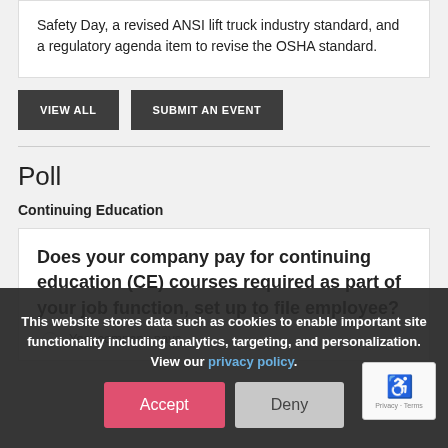Safety Day, a revised ANSI lift truck industry standard, and a regulatory agenda item to revise the OSHA standard.
VIEW ALL
SUBMIT AN EVENT
Poll
Continuing Education
Does your company pay for continuing education (CE) courses required as part of your job function, set up to file employee?
Yes, company pays
This website stores data such as cookies to enable important site functionality including analytics, targeting, and personalization. View our privacy policy.
Accept
Deny